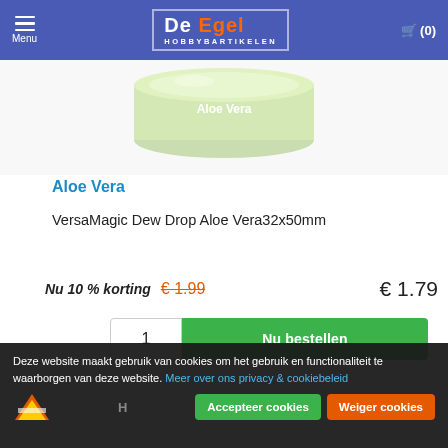Menu | De Egel Hobbybartikelen | (0)
[Figure (photo): Partial view of a round tin/container labeled 'Aloe Vera' in light green color]
Aloe Vera
VersaMagic Dew Drop Aloe Vera32x50mm
Nu 10 % korting  € 1.99  € 1.79
1  Nu bestellen
Deze website maakt gebruik van cookies om het gebruik en functionaliteit te waarborgen van deze website. Meer over ons privacy & cookiebeleid
Accepteer cookies  Weiger cookies